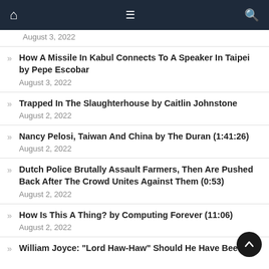Navigation bar with home, menu, and search icons
August 3, 2022
How A Missile In Kabul Connects To A Speaker In Taipei by Pepe Escobar — August 3, 2022
Trapped In The Slaughterhouse by Caitlin Johnstone — August 2, 2022
Nancy Pelosi, Taiwan And China by The Duran (1:41:26) — August 2, 2022
Dutch Police Brutally Assault Farmers, Then Are Pushed Back After The Crowd Unites Against Them (0:53) — August 2, 2022
How Is This A Thing? by Computing Forever (11:06) — August 2, 2022
William Joyce: "Lord Haw-Haw" Should He Have Been Hung